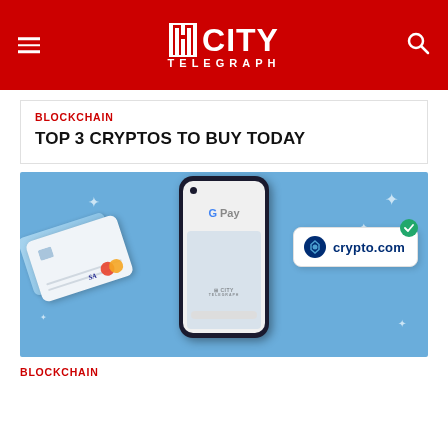CITY TELEGRAPH
BLOCKCHAIN
TOP 3 CRYPTOS TO BUY TODAY
[Figure (photo): Google Pay smartphone with payment cards and crypto.com integration badge, on blue background, watermarked City Telegraph]
BLOCKCHAIN